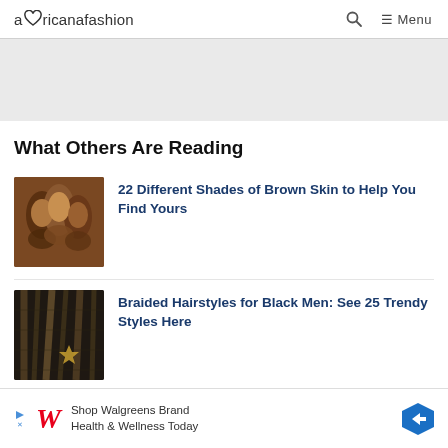africanafashion — Menu
What Others Are Reading
[Figure (photo): Thumbnail photo of a group of smiling Black women with natural hair]
22 Different Shades of Brown Skin to Help You Find Yours
[Figure (photo): Thumbnail photo showing braided hairstyles on a Black man]
Braided Hairstyles for Black Men: See 25 Trendy Styles Here
[Figure (infographic): Walgreens advertisement banner: Shop Walgreens Brand Health & Wellness Today]